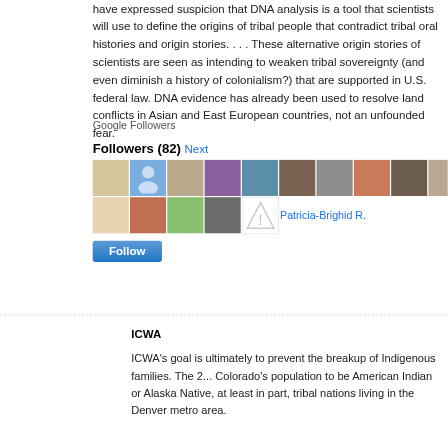have expressed suspicion that DNA analysis is a tool that scientists will use to define the origins of tribal people that contradict tribal oral histories and origin stories. . . . These alternative origin stories of scientists are seen as intending to weaken tribal sovereignty (and even diminish a history of colonialism?) that are supported in U.S. federal law. DNA evidence has already been used to resolve land conflicts in Asian and East European countries, not an unfounded fear.
Google Followers
Followers (82) Next
[Figure (photo): Grid of follower avatar photos for a Google Followers widget showing 82 followers in two rows, with a warning icon and a Patricia-Brighid R. link, followed by a Follow button]
ICWA
ICWA's goal is ultimately to prevent the breakup of Indigenous families. The 2... Colorado's population to be American Indian or Alaska Native, at least in part, tribal nations living in the Denver metro area.